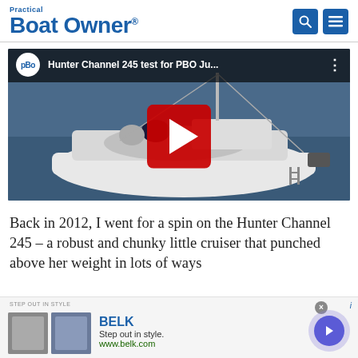Practical Boat Owner
[Figure (screenshot): YouTube video thumbnail showing a Hunter Channel 245 sailboat on water with two people in the cockpit. Video title bar reads 'Hunter Channel 245 test for PBO Ju...' with PBO logo circle. Large red YouTube play button in center.]
Back in 2012, I went for a spin on the Hunter Channel 245 – a robust and chunky little cruiser that punched above her weight in lots of ways
[Figure (screenshot): Advertisement banner for Belk department store. Shows 'STEP OUT IN STYLE' label, BELK brand name in blue, 'Step out in style.' tagline, 'www.belk.com' URL, two small product images, a purple arrow button, and a close X button.]